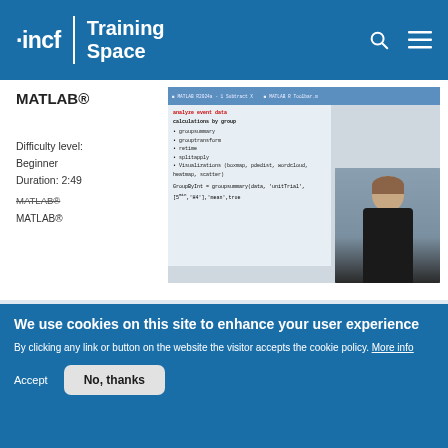INCF Training Space
MATLAB®
Difficulty level: Beginner
Duration: 2:49
MATLAB®
[Figure (screenshot): Video thumbnail showing MATLAB code editor with a presenter/instructor visible on the right side. The screen shows MATLAB code including 'analyze event data', 'calculations by group', and groupsummary function call.]
We use cookies on this site to enhance your user experience
By clicking any link or button on the website the visitor accepts the cookie policy. More info
Accept
No, thanks